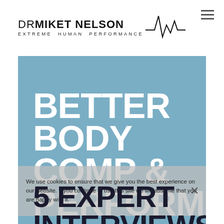[Figure (logo): Dr Mike T Nelson - Extreme Human Performance logo with heartbeat/pulse line graphic]
BETTER BODY COMP & PERFORMANCE
We use cookies to ensure that we give you the best experience on our website. If you continue to use this site we will assume that you are happy with it.
5 EXPERT INTERVIEWS